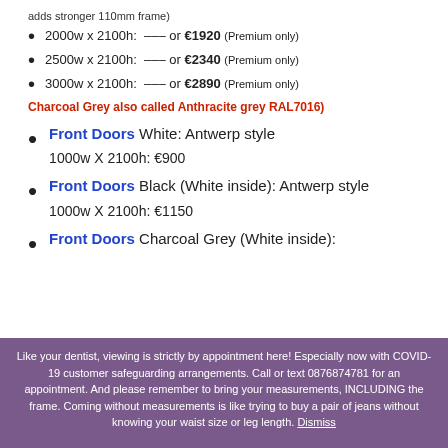adds stronger 110mm frame)
2000w x 2100h:  ——— or €1920 (Premium only)
2500w x 2100h:  ——— or €2340 (Premium only)
3000w x 2100h:  ——— or €2890 (Premium only)
Charcoal Grey also called Anthracite grey RAL7016)
Front Doors White: Antwerp style
1000w X 2100h: €900
Front Doors Black (White inside): Antwerp style
1000w X 2100h: €1150
Front Doors Charcoal Grey (White inside):
Like your dentist, viewing is strictly by appointment here! Especially now with COVID-19 customer safeguarding arrangements. Call or text 0876874781 for an appointment. And please remember to bring your measurements, INCLUDING the frame. Coming without measurements is like trying to buy a pair of jeans without knowing your waist size or leg length. Dismiss